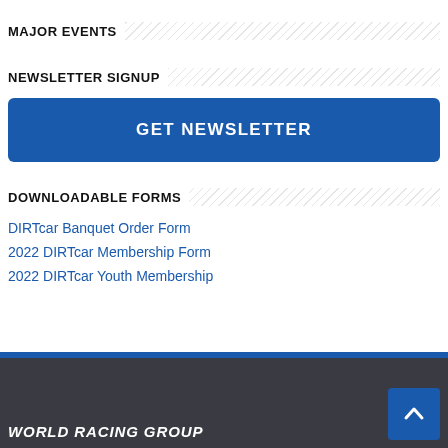MAJOR EVENTS
NEWSLETTER SIGNUP
GET NEWSLETTER
DOWNLOADABLE FORMS
DIRTcar Banquet Order Form
2022 DIRTcar Membership Form
2022 DIRTcar Youth Membership
WORLD RACING GROUP